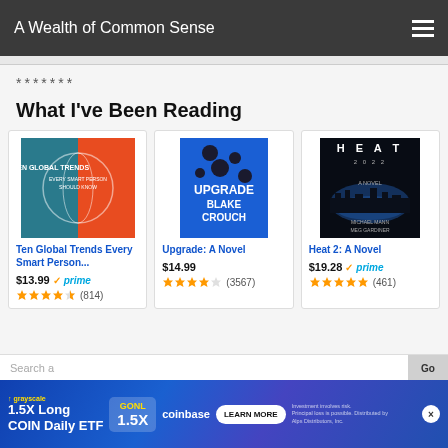A Wealth of Common Sense
*******
What I've Been Reading
[Figure (illustration): Book cover: Ten Global Trends Every Smart Person Should Know - teal and orange cover with globe graphic]
[Figure (illustration): Book cover: Upgrade by Blake Crouch - blue cover with black dots/circles]
[Figure (illustration): Book cover: Heat 2: A Novel by Michael Mann and Meg Gardiner - dark atmospheric city skyline]
Ten Global Trends Every Smart Person... $13.99 prime ★★★★½ (814)
Upgrade: A Novel $14.99 ★★★★☆ (3567)
Heat 2: A Novel $19.28 prime ★★★★★ (461)
[Figure (screenshot): Advertisement banner: 1.5X Long COIN Daily ETF - GONL - 1.5X - coinbase - LEARN MORE button]